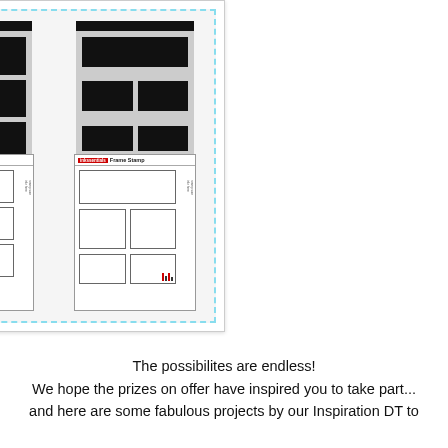[Figure (illustration): A composite image showing four photo/stamp layout templates arranged in a 2x2 grid inside a light blue dashed border box. Top row shows two gray photo collage layout cards (a 2x3 equal grid and an asymmetric grid). Bottom row shows two Inkssentials Frame Stamp product cards with white cell grids.]
The possibilites are endless!
We hope the prizes on offer have inspired you to take part...
and here are some fabulous projects by our Inspiration DT to